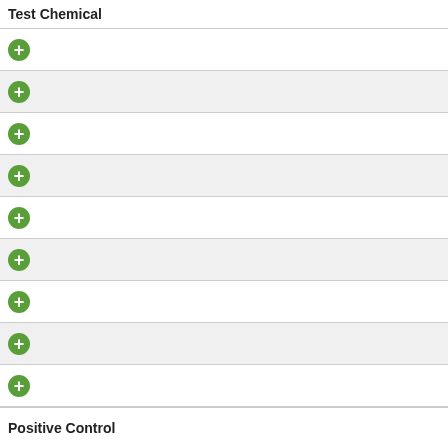Test Chemical
+ (expandable row 1)
+ (expandable row 2)
+ (expandable row 3)
+ (expandable row 4)
+ (expandable row 5)
+ (expandable row 6)
+ (expandable row 7)
+ (expandable row 8)
+ (expandable row 9)
Positive Control